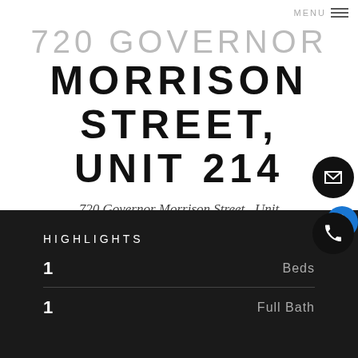MENU
720 GOVERNOR MORRISON STREET, UNIT 214
720 Governor Morrison Street , Unit 214, Charlotte, NC
$205,000
HIGHLIGHTS
1   Beds
1   Full Bath